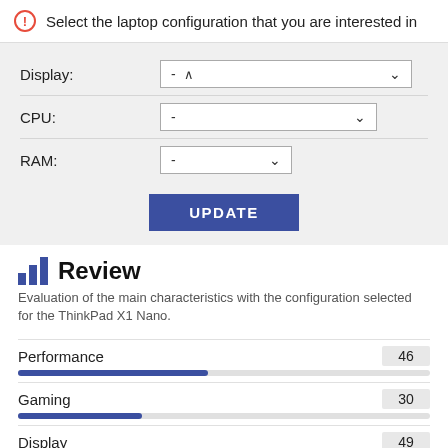Select the laptop configuration that you are interested in
Display: -
CPU: -
RAM: -
UPDATE
Review
Evaluation of the main characteristics with the configuration selected for the ThinkPad X1 Nano.
Performance 46
Gaming 30
Display 49